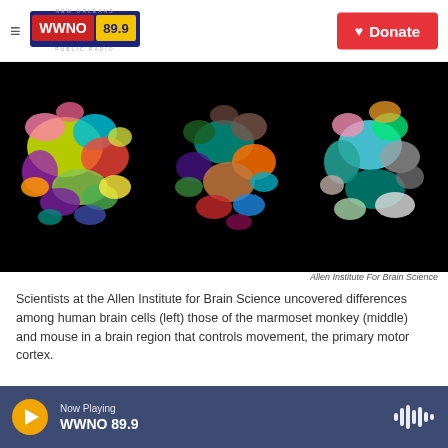WWNO 89.9 New Orleans Public Radio | Donate
[Figure (photo): Three colorful circular brain cell maps on black background showing human brain cells (left), marmoset monkey brain cells (middle), and mouse brain cells (right) from the Allen Institute for Brain Science, in the primary motor cortex region.]
Allen Institute For Brain Science
Scientists at the Allen Institute for Brain Science uncovered differences among human brain cells (left) those of the marmoset monkey (middle) and mouse in a brain region that controls movement, the primary motor cortex.
Now Playing WWNO 89.9